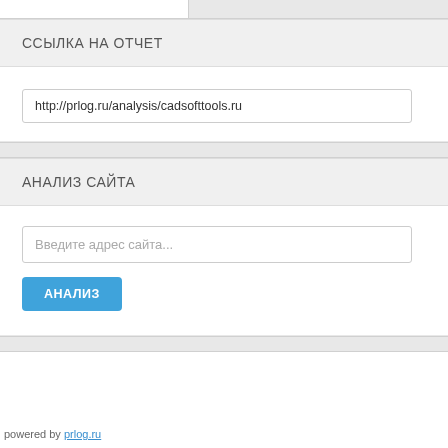ССЫЛКА НА ОТЧЕТ
http://prlog.ru/analysis/cadsofttools.ru
АНАЛИЗ САЙТА
Введите адрес сайта...
АНАЛИЗ
powered by prlog.ru